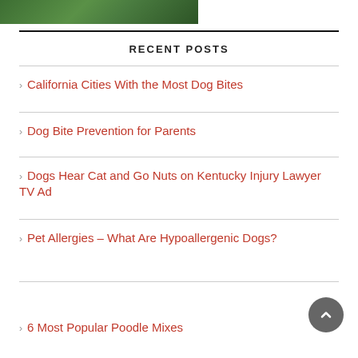[Figure (photo): Green plant/leaf image strip at top left]
RECENT POSTS
California Cities With the Most Dog Bites
Dog Bite Prevention for Parents
Dogs Hear Cat and Go Nuts on Kentucky Injury Lawyer TV Ad
Pet Allergies – What Are Hypoallergenic Dogs?
6 Most Popular Poodle Mixes